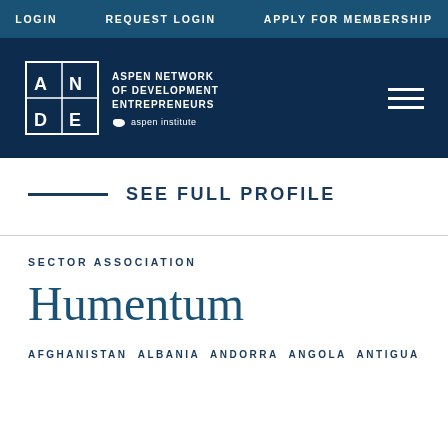LOGIN  REQUEST LOGIN  APPLY FOR MEMBERSHIP
[Figure (logo): ANDE - Aspen Network of Development Entrepreneurs logo with Aspen Institute branding on dark navy background]
SEE FULL PROFILE
SECTOR ASSOCIATION
Humentum
AFGHANISTAN  ALBANIA  ANDORRA  ANGOLA  ANTIGUA